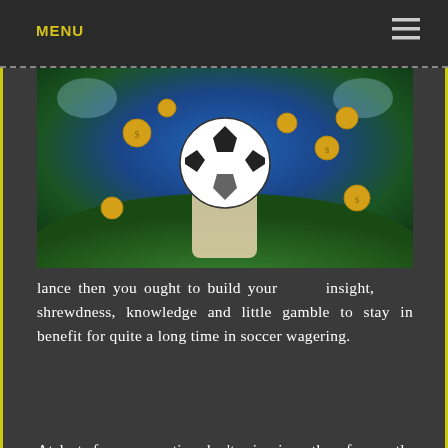MENU
[Figure (photo): A soccer ball held in a hand on a green field stadium background with gold coins falling around it]
lance then you ought to build your insight, shrewdness, knowledge and little gamble to stay in benefit for quite a long time in soccer wagering.
At last, free soccer tips don't win since they frequently urge their